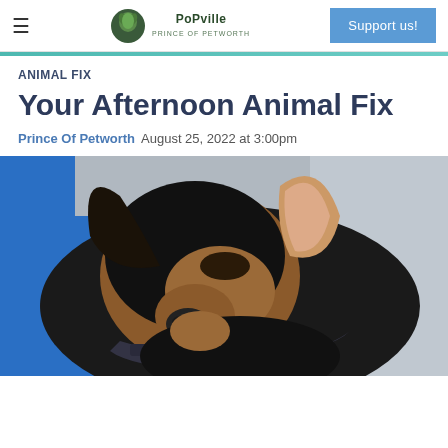PoPville — Prince of Petworth | Support us!
ANIMAL FIX
Your Afternoon Animal Fix
Prince Of Petworth  August 25, 2022 at 3:00pm
[Figure (photo): A small black and tan dog with a harness, resting its head against a person wearing a blue shirt, with a gray couch in the background.]